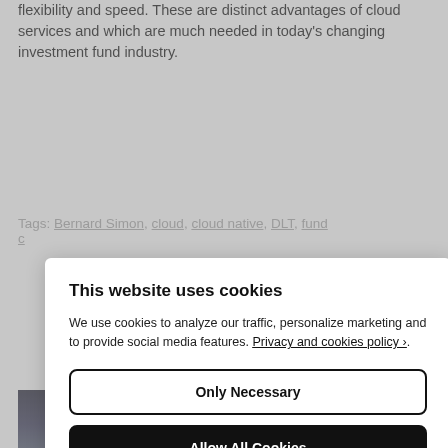flexibility and speed. These are distinct advantages of cloud services and which are much needed in today's changing investment fund industry.
Tags: Bernard Simon, cloud, cloud native, DLT, fund c...
[Figure (screenshot): Cookie consent modal dialog with title 'This website uses cookies', body text about traffic analysis and social media features with Privacy and cookies policy link, an 'Only Necessary' button with white background and black border, an 'Allow All Cookies' button with black background, and a 'Configure Settings ›' link at the bottom.]
[Figure (photo): Partial photo of a person wearing glasses at the bottom of the page, partially obscured by the cookie modal.]